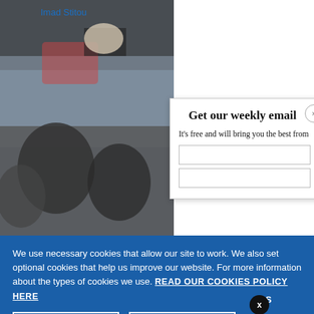Imad Stitou
[Figure (photo): Photo of people, partially visible behind overlapping modal dialogs]
Get our weekly email
It's free and will bring you the best from
We use necessary cookies that allow our site to work. We also set optional cookies that help us improve our website. For more information about the types of cookies we use. READ OUR COOKIES POLICY HERE
COOKIE
ALLOW
War in Ukraine, six months on
2 days ago
data.